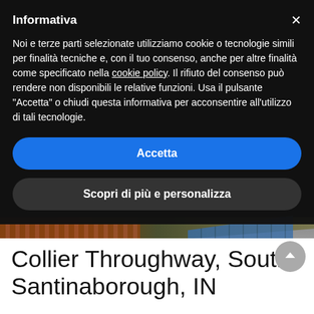[Figure (screenshot): Cookie consent modal overlay on a dark background, with a building/rooftop photo partially visible below, and a property listing title at the bottom.]
Informativa
Noi e terze parti selezionate utilizziamo cookie o tecnologie simili per finalità tecniche e, con il tuo consenso, anche per altre finalità come specificato nella cookie policy. Il rifiuto del consenso può rendere non disponibili le relative funzioni. Usa il pulsante “Accetta” o chiudi questa informativa per acconsentire all’utilizzo di tali tecnologie.
Accetta
Scopri di più e personalizza
Collier Throughway, South Santinaborough, IN